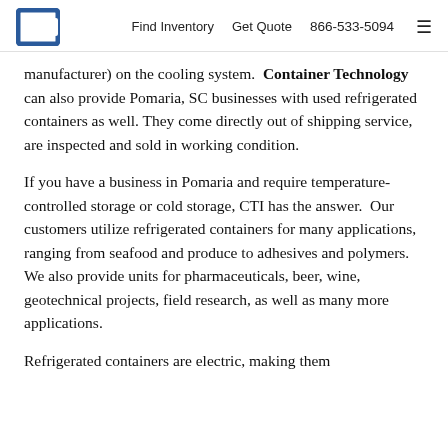Find Inventory  Get Quote  866-533-5094
manufacturer) on the cooling system.  Container Technology can also provide Pomaria, SC businesses with used refrigerated containers as well. They come directly out of shipping service, are inspected and sold in working condition.
If you have a business in Pomaria and require temperature-controlled storage or cold storage, CTI has the answer.  Our customers utilize refrigerated containers for many applications, ranging from seafood and produce to adhesives and polymers.  We also provide units for pharmaceuticals, beer, wine, geotechnical projects, field research, as well as many more applications.
Refrigerated containers are electric, making them